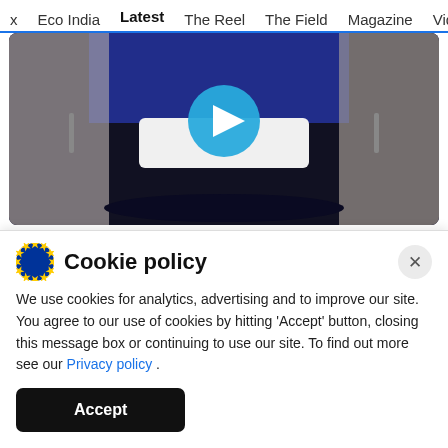x  Eco India  Latest  The Reel  The Field  Magazine  Video
[Figure (screenshot): Video thumbnail showing a dark interior (bathroom/cabinet) with a blue circular play button in the center]
2:38 PM · Jun 15, 2017
♡ 38   Reply   Copy link
Cookie policy
We use cookies for analytics, advertising and to improve our site. You agree to our use of cookies by hitting 'Accept' button, closing this message box or continuing to use our site. To find out more see our Privacy policy .
Accept